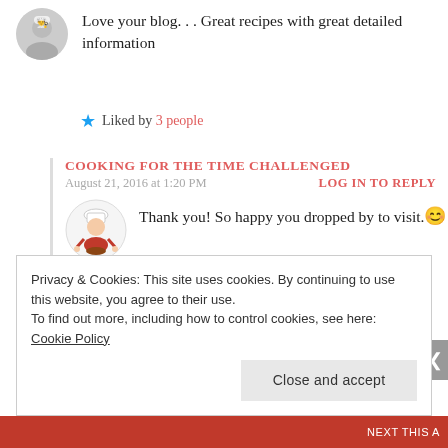Love your blog. . . Great recipes with great detailed information
Liked by 3 people
COOKING FOR THE TIME CHALLENGED
August 21, 2016 at 1:20 PM
LOG IN TO REPLY
Thank you! So happy you dropped by to visit. 😊
Liked by 1 person
Privacy & Cookies: This site uses cookies. By continuing to use this website, you agree to their use. To find out more, including how to control cookies, see here: Cookie Policy
Close and accept